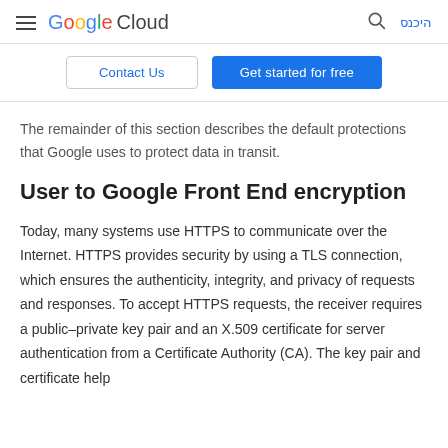Google Cloud  היכנס
Contact Us  Get started for free
The remainder of this section describes the default protections that Google uses to protect data in transit.
User to Google Front End encryption
Today, many systems use HTTPS to communicate over the Internet. HTTPS provides security by using a TLS connection, which ensures the authenticity, integrity, and privacy of requests and responses. To accept HTTPS requests, the receiver requires a public–private key pair and an X.509 certificate for server authentication from a Certificate Authority (CA). The key pair and certificate help